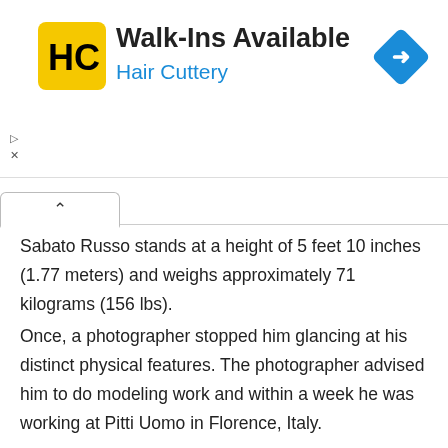[Figure (logo): Hair Cuttery advertisement banner with HC logo, 'Walk-Ins Available' heading and blue 'Hair Cuttery' subtitle, with blue diamond arrow icon on the right]
Sabato Russo stands at a height of 5 feet 10 inches (1.77 meters) and weighs approximately 71 kilograms (156 lbs).
Once, a photographer stopped him glancing at his distinct physical features. The photographer advised him to do modeling work and within a week he was working at Pitti Uomo in Florence, Italy.
Social Media Reach: IG, Twitter, FB
Though Sabato Russo had made quite a name for himself for several years, his story was not recognized by the public up until April of 2020...